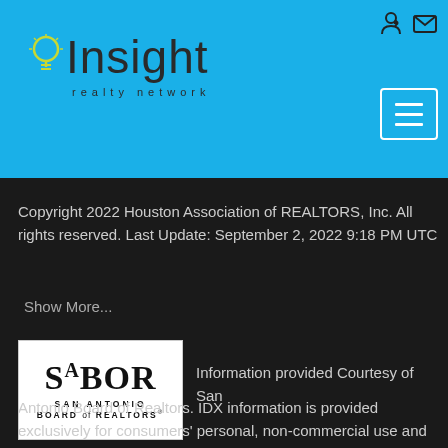Insight realty network
Copyright 2022 Houston Association of REALTORS, Inc. All rights reserved. Last Update: September 2, 2022 9:18 PM UTC
Show More...
[Figure (logo): SABOR - San Antonio Board of Realtors logo]
Information provided Courtesy of San Antonio Board of Realtors. IDX information is provided exclusively for consumers' personal, non-commercial use and may not be used for any purpose other than to identify prospective properties consumers may be interested in purchasing. Information is